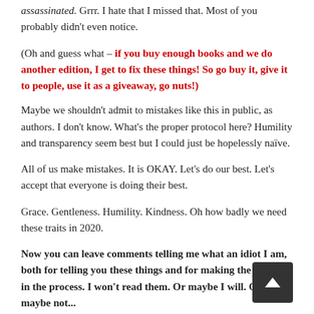assassinated. Grrr. I hate that I missed that. Most of you probably didn't even notice.
(Oh and guess what – if you buy enough books and we do another edition, I get to fix these things! So go buy it, give it to people, use it as a giveaway, go nuts!)
Maybe we shouldn't admit to mistakes like this in public, as authors. I don't know. What's the proper protocol here? Humility and transparency seem best but I could just be hopelessly naïve.
All of us make mistakes. It is OKAY. Let's do our best. Let's accept that everyone is doing their best.
Grace. Gentleness. Humility. Kindness. Oh how badly we need these traits in 2020.
Now you can leave comments telling me what an idiot I am, both for telling you these things and for making the mistakes in the process. I won't read them. Or maybe I will. Or maybe not...